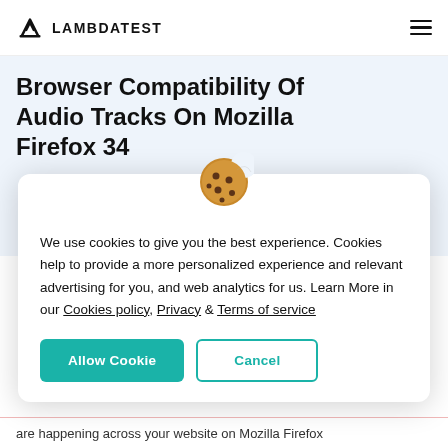LAMBDATEST
Browser Compatibility Of Audio Tracks On Mozilla Firefox 34
[Figure (illustration): Cookie emoji illustration — a round cookie with a bite taken out and chocolate chips]
We use cookies to give you the best experience. Cookies help to provide a more personalized experience and relevant advertising for you, and web analytics for us. Learn More in our Cookies policy, Privacy & Terms of service
Allow Cookie
Cancel
are happening across your website on Mozilla Firefox